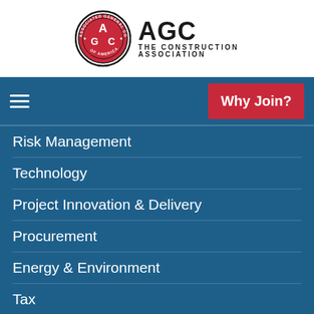[Figure (logo): AGC Associated General Contractors of America circular red and black logo with AGC letters, next to text 'AGC THE CONSTRUCTION ASSOCIATION']
AGC THE CONSTRUCTION ASSOCIATION
≡  Why Join?
Risk Management
Technology
Project Innovation & Delivery
Procurement
Energy & Environment
Tax
Culture of Care
LEARN
Education & Training
Construction Data
[Figure (illustration): Chat bubble / speech bubble icon in a dark circular background, bottom right corner]